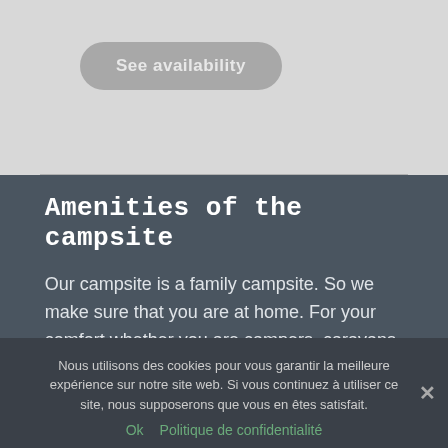See availability
Amenities of the campsite
Our campsite is a family campsite. So we make sure that you are at home. For your comfort whether you are campers, caravans, Vans, Camping-cars we offer all these things that will help you throughout your stay in the Pyrenees
Nous utilisons des cookies pour vous garantir la meilleure expérience sur notre site web. Si vous continuez à utiliser ce site, nous supposerons que vous en êtes satisfait.
Ok   Politique de confidentialité